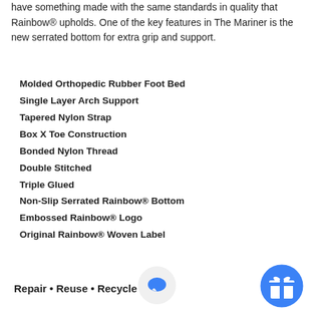have something made with the same standards in quality that Rainbow® upholds. One of the key features in The Mariner is the new serrated bottom for extra grip and support.
Molded Orthopedic Rubber Foot Bed
Single Layer Arch Support
Tapered Nylon Strap
Box X Toe Construction
Bonded Nylon Thread
Double Stitched
Triple Glued
Non-Slip Serrated Rainbow® Bottom
Embossed Rainbow® Logo
Original Rainbow® Woven Label
Repair • Reuse • Recycle